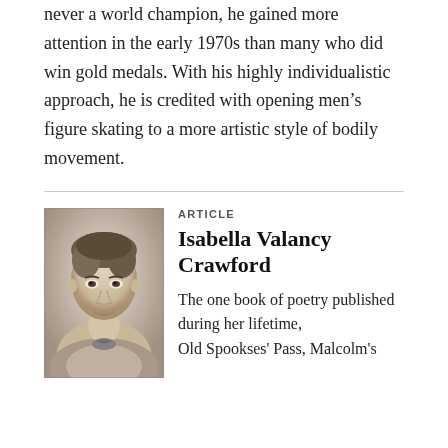never a world champion, he gained more attention in the early 1970s than many who did win gold medals. With his highly individualistic approach, he is credited with opening men's figure skating to a more artistic style of bodily movement.
[Figure (photo): Black and white portrait photograph of Isabella Valancy Crawford, a Victorian-era woman with hair pinned up, wearing a high-collared dress with a bow or brooch at the neck.]
ARTICLE
Isabella Valancy Crawford
The one book of poetry published during her lifetime, Old Spookses' Pass, Malcolm's